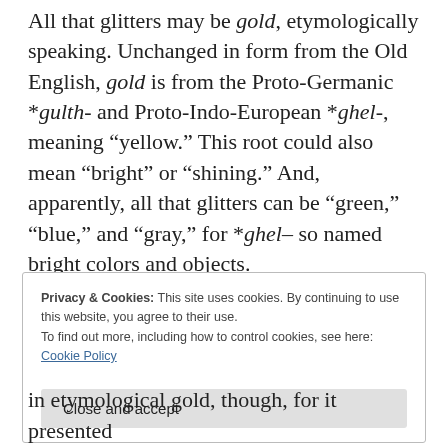All that glitters may be gold, etymologically speaking. Unchanged in form from the Old English, gold is from the Proto-Germanic *gulth- and Proto-Indo-European *ghel-, meaning “yellow.” This root could also mean “bright” or “shining.” And, apparently, all that glitters can be “green,” “blue,” and “gray,” for *ghel– so named bright colors and objects.
Privacy & Cookies: This site uses cookies. By continuing to use this website, you agree to their use.
To find out more, including how to control cookies, see here:
Cookie Policy
in etymological gold, though, for it presented